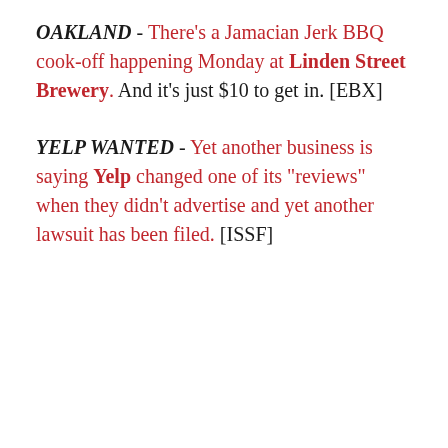OAKLAND - There's a Jamacian Jerk BBQ cook-off happening Monday at Linden Street Brewery. And it's just $10 to get in. [EBX]
YELP WANTED - Yet another business is saying Yelp changed one of its "reviews" when they didn't advertise and yet another lawsuit has been filed. [ISSF]